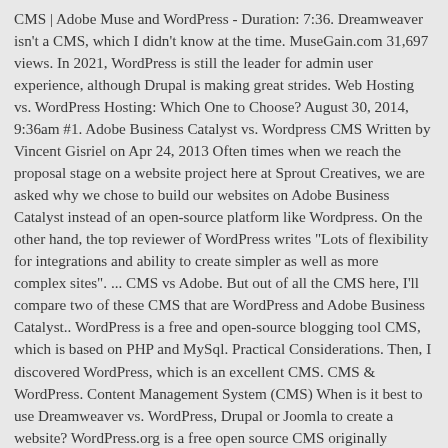CMS | Adobe Muse and WordPress - Duration: 7:36. Dreamweaver isn't a CMS, which I didn't know at the time. MuseGain.com 31,697 views. In 2021, WordPress is still the leader for admin user experience, although Drupal is making great strides. Web Hosting vs. WordPress Hosting: Which One to Choose? August 30, 2014, 9:36am #1. Adobe Business Catalyst vs. Wordpress CMS Written by Vincent Gisriel on Apr 24, 2013 Often times when we reach the proposal stage on a website project here at Sprout Creatives, we are asked why we chose to build our websites on Adobe Business Catalyst instead of an open-source platform like Wordpress. On the other hand, the top reviewer of WordPress writes "Lots of flexibility for integrations and ability to create simpler as well as more complex sites". ... CMS vs Adobe. But out of all the CMS here, I'll compare two of these CMS that are WordPress and Adobe Business Catalyst.. WordPress is a free and open-source blogging tool CMS, which is based on PHP and MySql. Practical Considerations. Then, I discovered WordPress, which is an excellent CMS. CMS & WordPress. Content Management System (CMS) When is it best to use Dreamweaver vs. WordPress, Drupal or Joomla to create a website? WordPress.org is a free open source CMS originally designed for blogging, but now it's used by all sorts of websites / online stores. So, I quickly learned that I needed to use